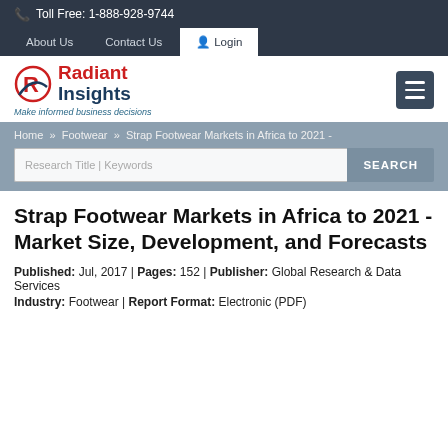Toll Free: 1-888-928-9744
About Us | Contact Us | Login
[Figure (logo): Radiant Insights logo with red R icon and tagline 'Make informed business decisions']
Home » Footwear » Strap Footwear Markets in Africa to 2021 -
Research Title | Keywords  SEARCH
Strap Footwear Markets in Africa to 2021 - Market Size, Development, and Forecasts
Published: Jul, 2017 | Pages: 152 | Publisher: Global Research & Data Services
Industry: Footwear | Report Format: Electronic (PDF)